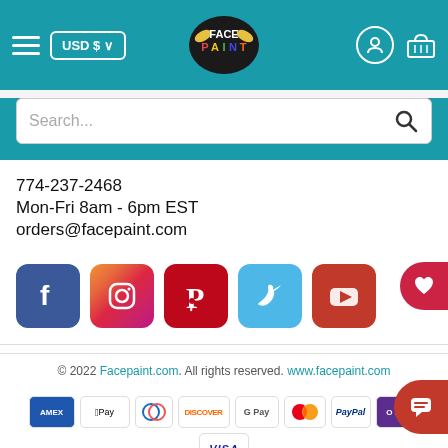[Figure (screenshot): Website header with hamburger menu, USD $ currency selector, FacePaint logo, user account icon, and shopping basket icon on teal background]
[Figure (screenshot): Search bar with placeholder text 'Search...' and magnifying glass icon]
774-237-2468
Mon-Fri 8am - 6pm EST
orders@facepaint.com
[Figure (infographic): Social media icons row: Facebook, Instagram, Pinterest, Twitter, YouTube]
© 2022 Facepaint.com. All rights reserved. www.facepaint.com
[Figure (infographic): Payment method icons: Amex, Apple Pay, Diners Club, Discover, Google Pay, Mastercard, PayPal, OPay, Visa]